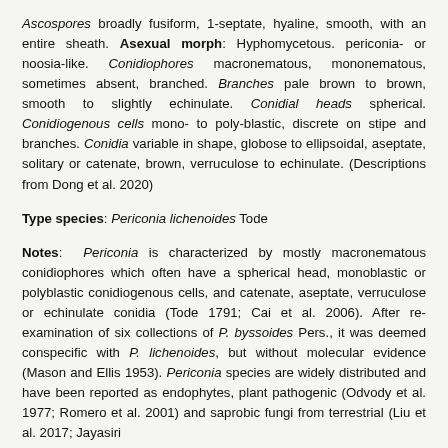Ascospores broadly fusiform, 1-septate, hyaline, smooth, with an entire sheath. Asexual morph: Hyphomycetous. periconia- or noosia-like. Conidiophores macronematous, mononematous, sometimes absent, branched. Branches pale brown to brown, smooth to slightly echinulate. Conidial heads spherical. Conidiogenous cells mono- to poly-blastic, discrete on stipe and branches. Conidia variable in shape, globose to ellipsoidal, aseptate, solitary or catenate, brown, verruculose to echinulate. (Descriptions from Dong et al. 2020)
Type species: Periconia lichenoides Tode
Notes: Periconia is characterized by mostly macronematous conidiophores which often have a spherical head, monoblastic or polyblastic conidiogenous cells, and catenate, aseptate, verruculose or echinulate conidia (Tode 1791; Cai et al. 2006). After re-examination of six collections of P. byssoides Pers., it was deemed conspecific with P. lichenoides, but without molecular evidence (Mason and Ellis 1953). Periconia species are widely distributed and have been reported as endophytes, plant pathogenic (Odvody et al. 1977; Romero et al. 2001) and saprobic fungi from terrestrial (Liu et al. 2017; Jayasiri